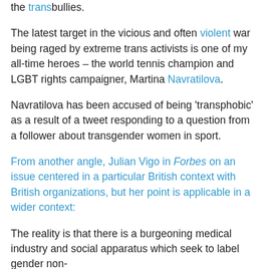the transbullies.
The latest target in the vicious and often violent war being raged by extreme trans activists is one of my all-time heroes – the world tennis champion and LGBT rights campaigner, Martina Navratilova.
Navratilova has been accused of being 'transphobic' as a result of a tweet responding to a question from a follower about transgender women in sport.
From another angle, Julian Vigo in Forbes on an issue centered in a particular British context with British organizations, but her point is applicable in a wider context:
The reality is that there is a burgeoning medical industry and social apparatus which seek to label gender non-conforming children as "transgendered" and which the